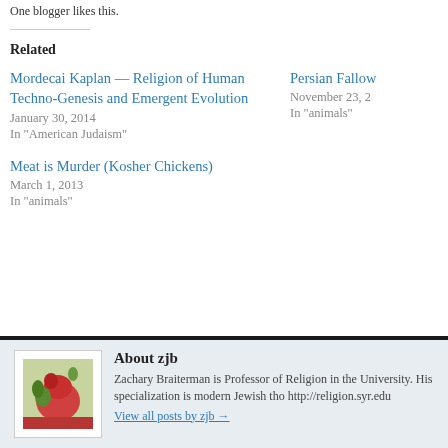One blogger likes this.
Related
Mordecai Kaplan — Religion of Human Techno-Genesis and Emergent Evolution
January 30, 2014
In "American Judaism"
Persian Fallow
November 23, 2
In "animals"
Meat is Murder (Kosher Chickens)
March 1, 2013
In "animals"
About zjb
[Figure (photo): Author photo showing a close-up of red and green produce/food items]
Zachary Braiterman is Professor of Religion in the University. His specialization is modern Jewish tho http://religion.syr.edu
View all posts by zjb →